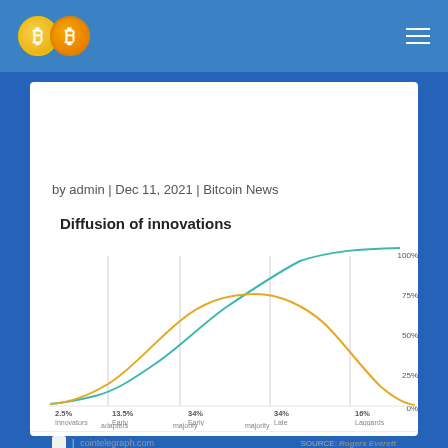Bitcoin logo header with hamburger menu
by admin | Dec 11, 2021 | Bitcoin News
[Figure (continuous-plot): S-curve (teal, cumulative adoption) and bell curve (yellow/orange, adoption rate) showing diffusion of innovations with five segments labeled: 2.5% Innovators, 13.5% Early adopters, 34% Early majority, 34% Late majority, 16% Laggards. Right y-axis shows 0%, 25%, 50%, 75%, 100%. Vertical lines divide the segments.]
SOURCE: Rogers Everett